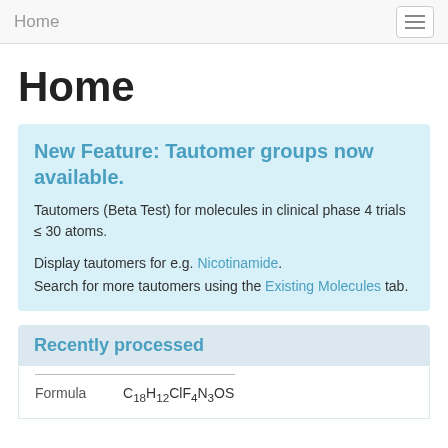Home
Home
New Feature: Tautomer groups now available.
Tautomers (Beta Test) for molecules in clinical phase 4 trials ≤ 30 atoms.
Display tautomers for e.g. Nicotinamide. Search for more tautomers using the Existing Molecules tab.
Recently processed
| Formula |  |
| --- | --- |
| Formula | C18H12ClF4N3OS |